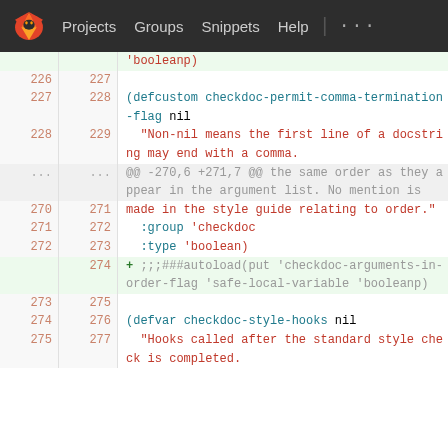Projects  Groups  Snippets  Help  ...
[Figure (screenshot): GitLab diff view showing Emacs Lisp code changes in a file, with line numbers, added lines highlighted in green, and context lines in white. Shows defcustom and defvar forms.]